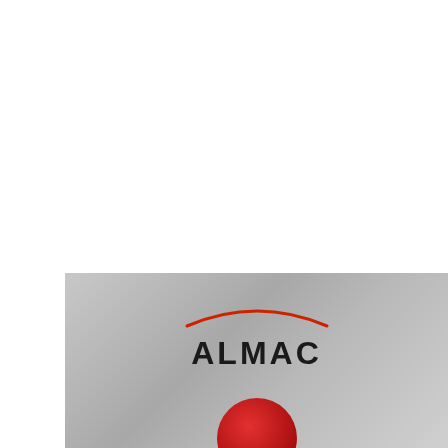[Figure (logo): Siemens Healthineers logo: SIEMENS in teal/blue bold text, Healthineers in orange bold text, with an orange dot-grid pattern to the right]
[Figure (logo): Almac logo on a silver/grey gradient background panel: red arc above the word ALMAC in bold dark text, with a red circular element at the bottom]